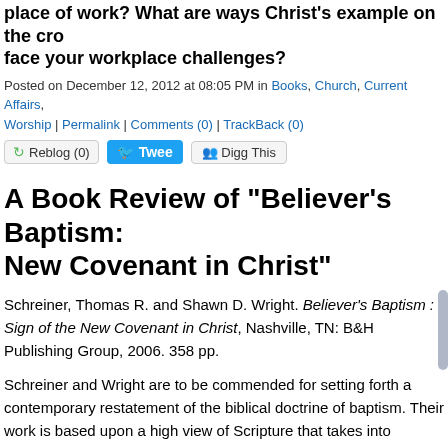place of work? What are ways Christ's example on the cro face your workplace challenges?
Posted on December 12, 2012 at 08:05 PM in Books, Church, Current Affairs, Worship | Permalink | Comments (0) | TrackBack (0)
Reblog (0) | Tweet | Digg This
A Book Review of "Believer's Baptism: New Covenant in Christ"
Schreiner, Thomas R. and Shawn D. Wright. Believer's Baptism : Sign of the New Covenant in Christ, Nashville, TN: B&H Publishing Group, 2006. 358 pp.
Schreiner and Wright are to be commended for setting forth a contemporary restatement of the biblical doctrine of baptism. Their work is based upon a high view of Scripture that takes into consideration the full scope of God's revelation and church history. In a day in which many believers either downplay the